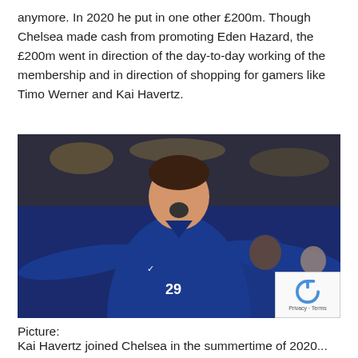anymore. In 2020 he put in one other £200m. Though Chelsea made cash from promoting Eden Hazard, the £200m went in direction of the day-to-day working of the membership and in direction of shopping for gamers like Timo Werner and Kai Havertz.
[Figure (photo): Kai Havertz in Chelsea blue jersey number 29, celebrating with mouth open wide, crowd in background]
Picture:
Kai Havertz joined Chelsea in the summertime of 2020...